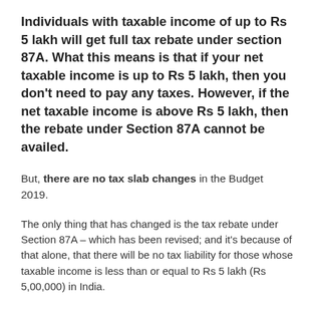Individuals with taxable income of up to Rs 5 lakh will get full tax rebate under section 87A. What this means is that if your net taxable income is up to Rs 5 lakh, then you don't need to pay any taxes. However, if the net taxable income is above Rs 5 lakh, then the rebate under Section 87A cannot be availed.
But, there are no tax slab changes in the Budget 2019.
The only thing that has changed is the tax rebate under Section 87A – which has been revised; and it's because of that alone, that there will be no tax liability for those whose taxable income is less than or equal to Rs 5 lakh (Rs 5,00,000) in India.